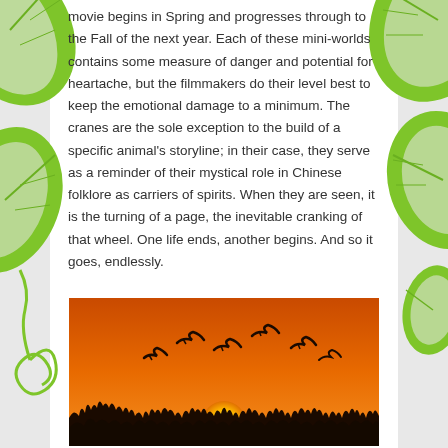movie begins in Spring and progresses through to the Fall of the next year. Each of these mini-worlds contains some measure of danger and potential for heartache, but the filmmakers do their level best to keep the emotional damage to a minimum. The cranes are the sole exception to the build of a specific animal's storyline; in their case, they serve as a reminder of their mystical role in Chinese folklore as carriers of spirits. When they are seen, it is the turning of a page, the inevitable cranking of that wheel. One life ends, another begins. And so it goes, endlessly.
[Figure (photo): Silhouette of cranes flying against an orange sunset sky, with the sun partially visible at the bottom and dark grass silhouettes in the foreground.]